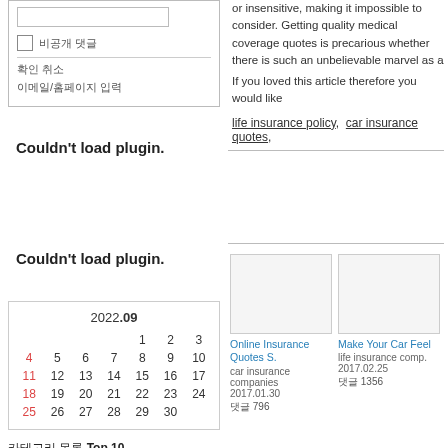[Figure (other): Form input box with checkbox and labels in Korean]
[Figure (other): Couldn't load plugin. notice (left column, top)]
or insensitive, making it impossible to consider. Getting quality medical coverage quotes is precarious whether there is such an unbelievable marvel as a
If you loved this article therefore you would like
life insurance policy,  car insurance quotes,
[Figure (other): Couldn't load plugin. notice (left column, bottom)]
[Figure (other): Horizontal divider line right column]
[Figure (other): Calendar for 2022.09 showing September 2022]
[Figure (other): Article card: Online Insurance Quotes S., car insurance companies, 2017.01.30, count 796]
[Figure (other): Article card: Make Your Car Feel..., life insurance comp., 2017.02.25, count 1356]
카테고리 Top 10